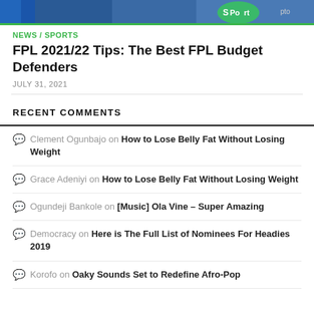[Figure (photo): Partial sports/news image strip showing blue jersey and a logo partially visible on the right]
NEWS / SPORTS
FPL 2021/22 Tips: The Best FPL Budget Defenders
JULY 31, 2021
RECENT COMMENTS
Clement Ogunbajo on How to Lose Belly Fat Without Losing Weight
Grace Adeniyi on How to Lose Belly Fat Without Losing Weight
Ogundeji Bankole on [Music] Ola Vine – Super Amazing
Democracy on Here is The Full List of Nominees For Headies 2019
Korofo on Oaky Sounds Set to Redefine Afro-Pop